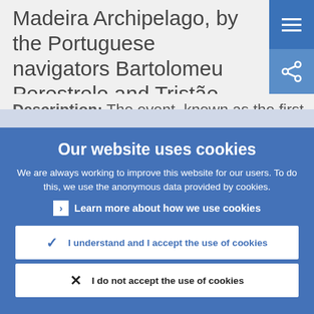Madeira Archipelago, by the Portuguese navigators Bartolomeu Perestrelo and Tristão Vaz
Description: The event, known as the first
Our website uses cookies
We are always working to improve this website for our users. To do this, we use the anonymous data provided by cookies.
Learn more about how we use cookies
I understand and I accept the use of cookies
I do not accept the use of cookies